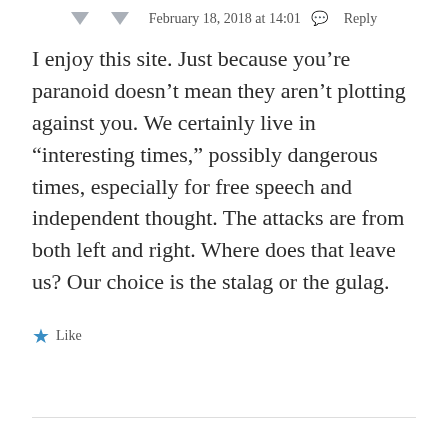February 18, 2018 at 14:01  Reply
I enjoy this site. Just because you’re paranoid doesn’t mean they aren’t plotting against you. We certainly live in “interesting times,” possibly dangerous times, especially for free speech and independent thought. The attacks are from both left and right. Where does that leave us? Our choice is the stalag or the gulag.
Like